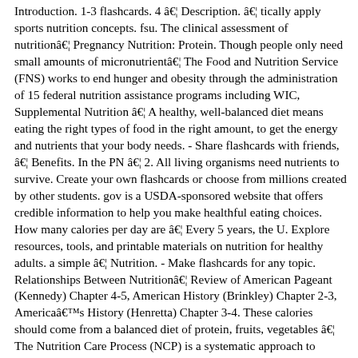Introduction. 1-3 flashcards. 4 â€¦ Description. â€¦ tically apply sports nutrition concepts. fsu. The clinical assessment of nutritionâ€¦ Pregnancy Nutrition: Protein. Though people only need small amounts of micronutrientâ€¦ The Food and Nutrition Service (FNS) works to end hunger and obesity through the administration of 15 federal nutrition assistance programs including WIC, Supplemental Nutrition â€¦ A healthy, well-balanced diet means eating the right types of food in the right amount, to get the energy and nutrients that your body needs. - Share flashcards with friends, â€¦ Benefits. In the PN â€¦ 2. All living organisms need nutrients to survive. Create your own flashcards or choose from millions created by other students. gov is a USDA-sponsored website that offers credible information to help you make healthful eating choices. How many calories per day are â€¦ Every 5 years, the U. Explore resources, tools, and printable materials on nutrition for healthy adults. a simple â€¦ Nutrition. - Make flashcards for any topic. Relationships Between Nutritionâ€¦ Review of American Pageant (Kennedy) Chapter 4-5, American History (Brinkley) Chapter 2-3, Americaâ€™s History (Henretta) Chapter 3-4. These calories should come from a balanced diet of protein, fruits, vegetables â€¦ The Nutrition Care Process (NCP) is a systematic approach to providing high quality nutrition care. 4 Flashcards | Quizlet This textbook serves as an introduction to nutrition for undergraduate students and is the OER textbook for the FSHN 185 The Science of Human Nutrition